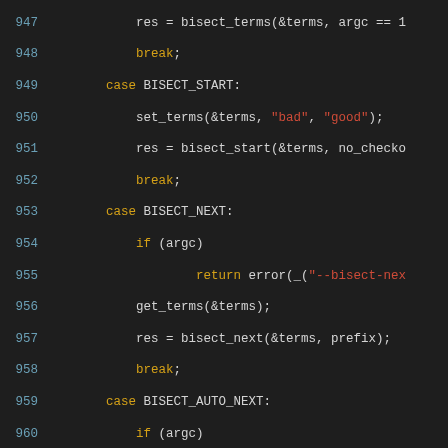[Figure (screenshot): Source code snippet showing C code for a git bisect command handler, lines 947-976, with syntax highlighting: line numbers in blue, keywords/case/break/default in orange, string literals in red, other code in white/light gray, on dark background.]